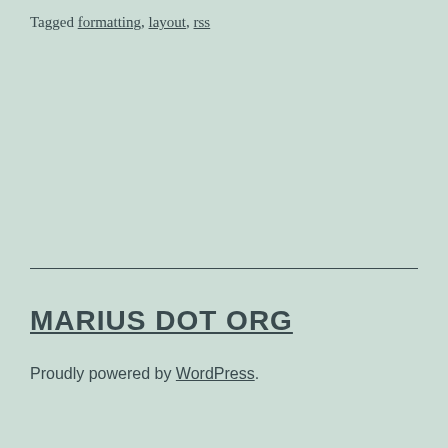Tagged formatting, layout, rss
MARIUS DOT ORG
Proudly powered by WordPress.